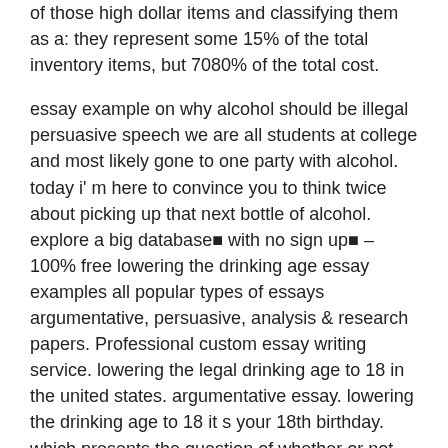of those high dollar items and classifying them as a: they represent some 15% of the total inventory items, but 7080% of the total cost.
essay example on why alcohol should be illegal persuasive speech we are all students at college and most likely gone to one party with alcohol. today i' m here to convince you to think twice about picking up that next bottle of alcohol. explore a big database■ with no sign up■ – 100% free lowering the drinking age essay examples all popular types of essays argumentative, persuasive, analysis & research papers. Professional custom essay writing service. lowering the legal drinking age to 18 in the united states. argumentative essay. lowering the drinking age to 18 it s your 18th birthday. which presents the question of whether or not the drinking age should be lowered.
persuasive essay - drinking age - kaylie doman. persuasive essay - drinking age;. the drinking age law should be amended to state eighteen as the end all be all adult. great work from outstanding writers. we ensure only the best results. as we